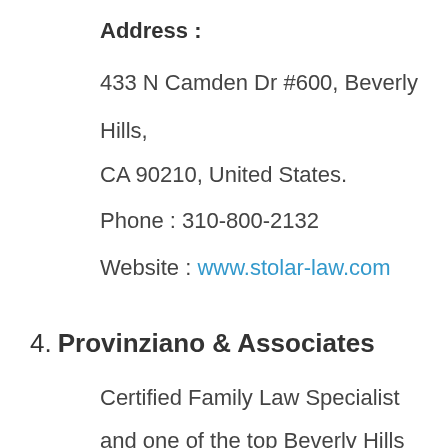Address :
433 N Camden Dr #600, Beverly Hills,
CA 90210, United States.
Phone : 310-800-2132
Website : www.stolar-law.com
4. Provinziano & Associates
Certified Family Law Specialist and one of the top Beverly Hills